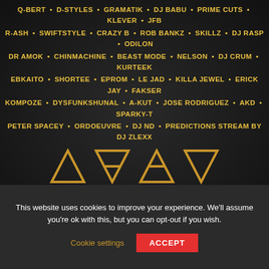Q-BERT • D-STYLES • GRAMATIK • DJ BABU • PRIME CUTS • KLEVER • JFB • R-ASH • SWIFTSTYLE • CRAZY B • ROB BANKZ • SKILLZ • DJ RASP • ODILON • DR AMOK • CHINMACHINE • BEAST MODE • NELSON • DJ CRUM • KURTEEK • EBKAITO • SHORTEE • EPROM • Le JAD • KILLA JEWEL • ERICK JAY • FAKSER • KOMPOZE • DYSFUNKSHUNAL • A-KUT • JOSE RODRIGUEZ • AKD • SPARKY-T • PETER SPACEY • ORDOEUVRE • DJ ND • PREDICTIONS STREAM BY DJ ZLEXX
[Figure (illustration): Four geometric triangle symbols in gold representing RAPIDITY (upward triangle), TECHNICITY (inverted triangle with horizontal line), CREATIVITY (upward triangle with horizontal line), FLOW (inverted triangle)]
[Figure (logo): Sponsor logos: Hatman Records, OMONI, Ortofon DJ, WOODWURK, Skratch Society]
This website uses cookies to improve your experience. We'll assume you're ok with this, but you can opt-out if you wish.
Cookie settings
ACCEPT